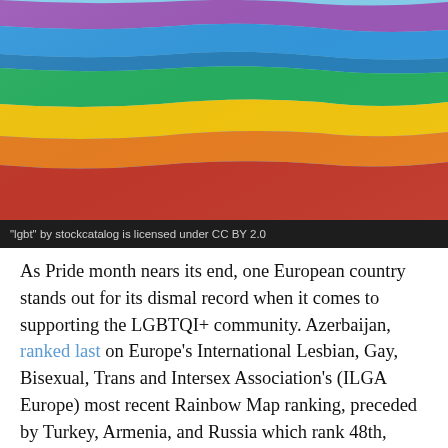[Figure (photo): Close-up photograph of a rainbow pride flag with colorful horizontal stripes (red, orange, yellow, green, blue, purple) visible against a blue sky background.]
"lgbt" by stockcatalog is licensed under CC BY 2.0
As Pride month nears its end, one European country stands out for its dismal record when it comes to supporting the LGBTQI+ community. Azerbaijan, ranked last on Europe's International Lesbian, Gay, Bisexual, Trans and Intersex Association's (ILGA Europe) most recent Rainbow Map ranking, preceded by Turkey, Armenia, and Russia which rank 48th, 47th, and 46th respectively. ILGA has been surveying the LGBTQI+ community in 49 European countries since 2009 through their Rainbow Map and...